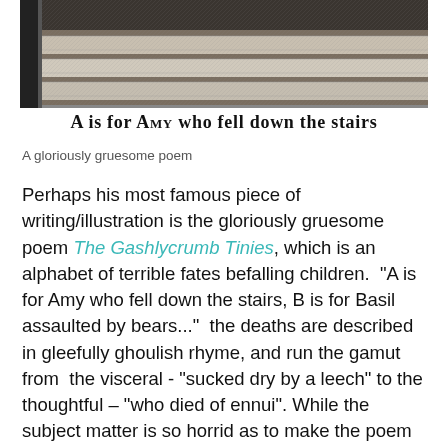[Figure (photo): Black and white illustration of stairs, partially visible at top of page]
A is for Amy who fell down the stairs
A gloriously gruesome poem
Perhaps his most famous piece of writing/illustration is the gloriously gruesome poem The Gashlycrumb Tinies, which is an alphabet of terrible fates befalling children.  "A is for Amy who fell down the stairs, B is for Basil assaulted by bears..."  the deaths are described in gleefully ghoulish rhyme, and run the gamut from  the visceral - "sucked dry by a leech" to the thoughtful – "who died of ennui". While the subject matter is so horrid as to make the poem sound macabre, the rhyme combined with Gorey's art results in a strangely delightful